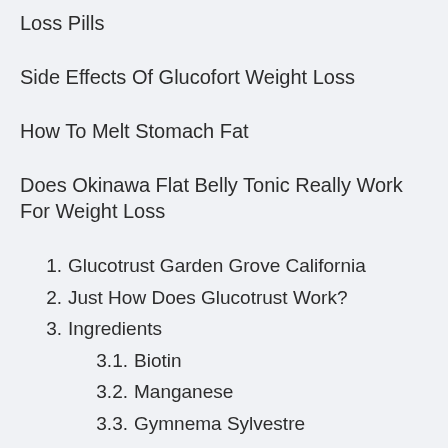Loss Pills
Side Effects Of Glucofort Weight Loss
How To Melt Stomach Fat
Does Okinawa Flat Belly Tonic Really Work For Weight Loss
1. Glucotrust Garden Grove California
2. Just How Does Glucotrust Work?
3. Ingredients
3.1. Biotin
3.2. Manganese
3.3. Gymnema Sylvestre
3.4. Chromium